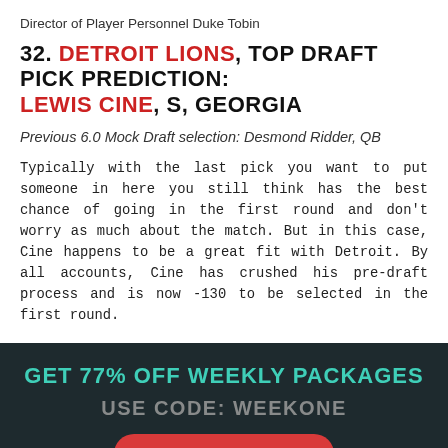Director of Player Personnel Duke Tobin
32. DETROIT LIONS, TOP DRAFT PICK PREDICTION: LEWIS CINE, S, GEORGIA
Previous 6.0 Mock Draft selection: Desmond Ridder, QB
Typically with the last pick you want to put someone in here you still think has the best chance of going in the first round and don't worry as much about the match. But in this case, Cine happens to be a great fit with Detroit. By all accounts, Cine has crushed his pre-draft process and is now -130 to be selected in the first round.
GET 77% OFF WEEKLY PACKAGES
USE CODE: WEEKONE
LEARN MORE